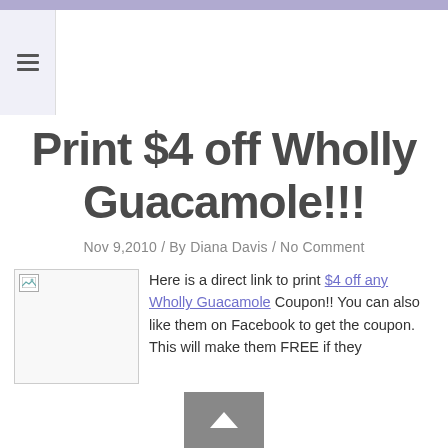≡
Print $4 off Wholly Guacamole!!!
Nov 9,2010 / By Diana Davis / No Comment
[Figure (photo): Image placeholder for Wholly Guacamole coupon]
Here is a direct link to print $4 off any Wholly Guacamole Coupon!! You can also like them on Facebook to get the coupon.  This will make them FREE if they